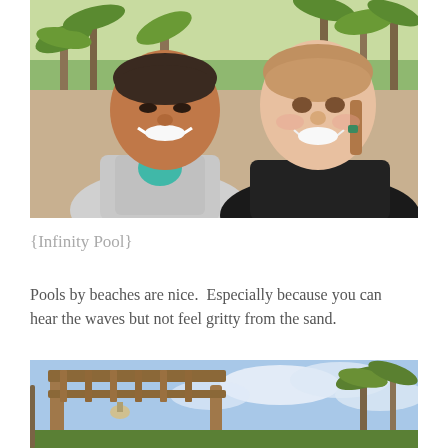[Figure (photo): Two young women smiling at the camera outdoors, tropical palm trees visible in the background. Left woman wears a gray sleeveless top with teal underneath, right woman wears a black top with braided hair.]
{Infinity Pool}
Pools by beaches are nice.  Especially because you can hear the waves but not feel gritty from the sand.
[Figure (photo): Outdoor scene with a rustic wooden pergola structure, palm trees, and a partly cloudy blue sky in a tropical setting.]